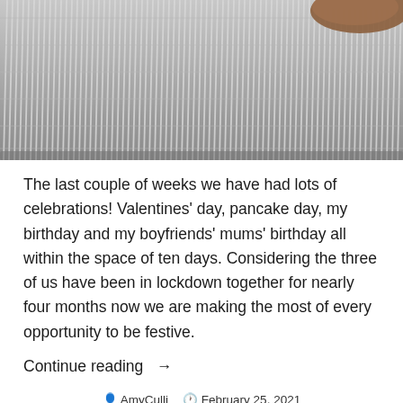[Figure (photo): Close-up photograph of a wire cooling rack or grill with fine metal grid, with what appears to be a food item partially visible in the top right corner]
The last couple of weeks we have had lots of celebrations! Valentines’ day, pancake day, my birthday and my boyfriends’ mums’ birthday all within the space of ten days. Considering the three of us have been in lockdown together for nearly four months now we are making the most of every opportunity to be festive.
Continue reading →
AmyCulli  February 25, 2021  Healthy living, Holistic health, Nutrition